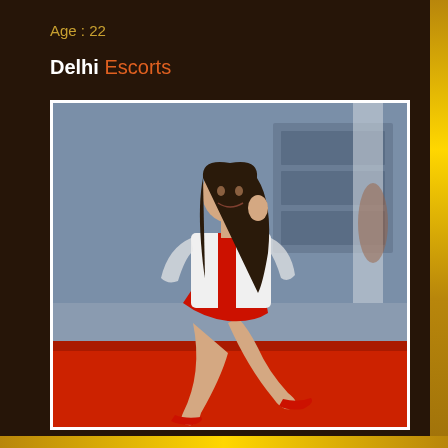Age : 22
Delhi Escorts
[Figure (photo): Young woman with long dark hair, wearing a white and red outfit, sitting on a red car in what appears to be an auto showroom or garage setting.]